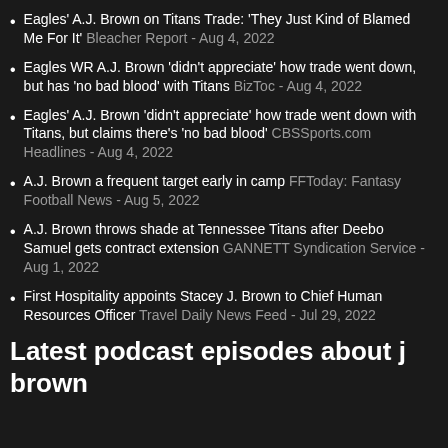Eagles' A.J. Brown on Titans Trade: 'They Just Kind of Blamed Me For It' Bleacher Report - Aug 4, 2022
Eagles WR A.J. Brown 'didn't appreciate' how trade went down, but has 'no bad blood' with Titans BizToc - Aug 4, 2022
Eagles' A.J. Brown 'didn't appreciate' how trade went down with Titans, but claims there's 'no bad blood' CBSSports.com Headlines - Aug 4, 2022
A.J. Brown a frequent target early in camp FFToday: Fantasy Football News - Aug 5, 2022
A.J. Brown throws shade at Tennessee Titans after Deebo Samuel gets contract extension GANNETT Syndication Service - Aug 1, 2022
First Hospitality appoints Stacey J. Brown to Chief Human Resources Officer Travel Daily News Feed - Jul 29, 2022
Latest podcast episodes about j brown